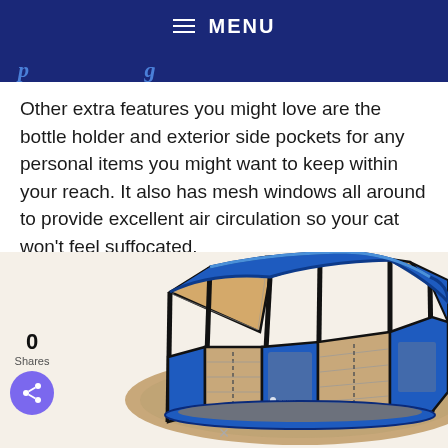≡ MENU
Other extra features you might love are the bottle holder and exterior side pockets for any personal items you might want to keep within your reach. It also has mesh windows all around to provide excellent air circulation so your cat won't feel suffocated.
[Figure (photo): Zampa brand blue and tan octagonal pet playpen/enclosure with mesh windows, viewed from above-front angle showing the open top and multiple side panels with zippered doors.]